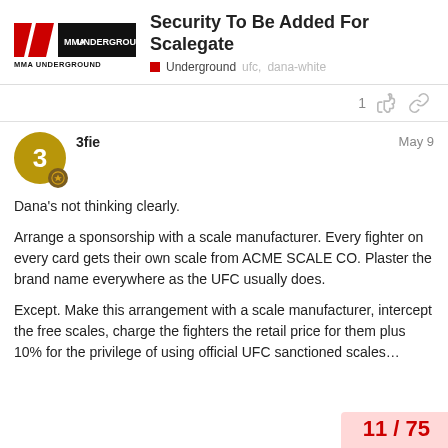Security To Be Added For Scalegate
Underground  ufc,  dana-white
1
3fie  May 9
Dana's not thinking clearly.
Arrange a sponsorship with a scale manufacturer. Every fighter on every card gets their own scale from ACME SCALE CO. Plaster the brand name everywhere as the UFC usually does.
Except. Make this arrangement with a scale manufacturer, intercept the free scales, charge the fighters the retail price for them plus 10% for the privilege of using official UFC sanctioned scales…
11 / 75